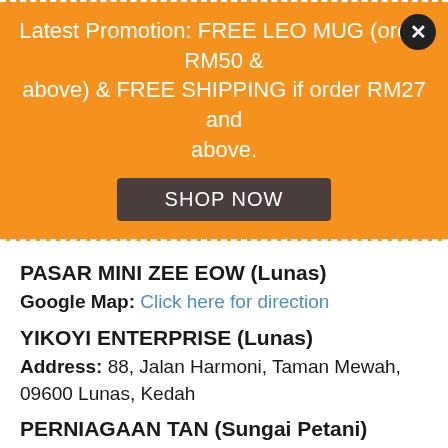Latest Promotion: FREE LEO MUG (order RM50 & above) & FREE SHIPPING if order RM27 and above.
SHOP NOW
PASAR MINI ZEE EOW (Lunas)
Google Map: Click here for direction
YIKOYI ENTERPRISE (Lunas)
Address: 88, Jalan Harmoni, Taman Mewah, 09600 Lunas, Kedah
PERNIAGAAN TAN (Sungai Petani)
Google Map: Click here for direction
LXY XING YEE ENTERPRISE (Sungai Petani)
Address: 10, Tingkat Bawah, Jalan Puteri 2, Taman